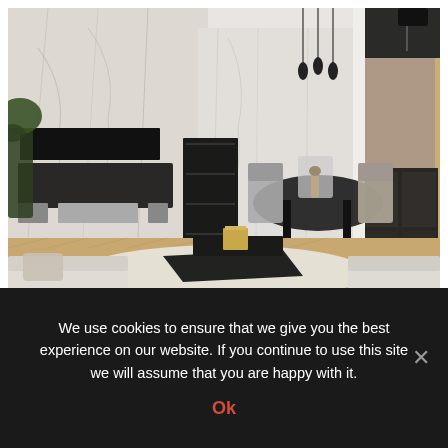[Figure (photo): Interior photo of a modern luxury apartment living room with marble walls, herringbone wood floor, black TV unit, dining table with chairs, and a geometric black coffee table on a white rug with cream sofas in the foreground.]
Luxury Apartments in Mumbai Might Be Cheaper Than You Think
We use cookies to ensure that we give you the best experience on our website. If you continue to use this site we will assume that you are happy with it.
Ok